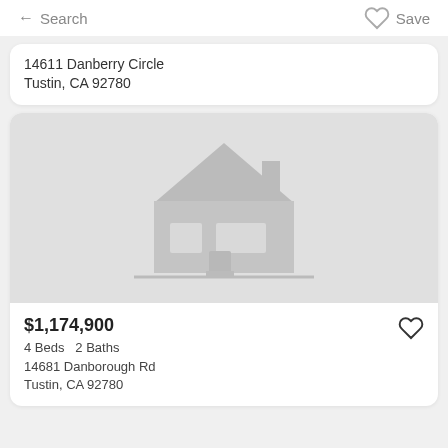← Search   ♡ Save
14611 Danberry Circle
Tustin, CA 92780
[Figure (illustration): Placeholder house icon on light gray background representing a real estate listing with no photo available]
$1,174,900
4 Beds  2 Baths
14681 Danborough Rd
Tustin, CA 92780